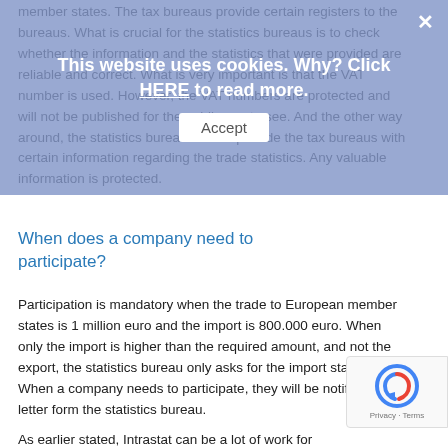member states. The tax bureaus provide certain registers to the bureaus. What is crucial for the statistics bureaus is to check whether the information and the statistics that were provided are reliable and correct. What is very important is that the VAT number is used. However, the VAT numbers are protected and will not be published for the public eye to see. And the other way around, the statistics bureau will not provide the tax bureaus with certain information regarding the trade statistics. Any valuable information is protected.
When does a company need to participate?
Participation is mandatory when the trade to European member states is 1 million euro and the import is 800.000 euro. When only the import is higher than the required amount, and not the export, the statistics bureau only asks for the import statistics. When a company needs to participate, they will be notified with a letter form the statistics bureau.
As earlier stated, Intrastat can be a lot of work for